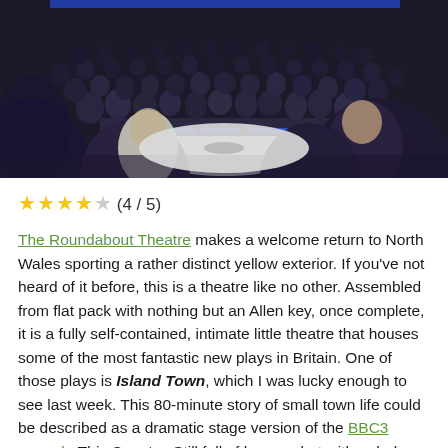[Figure (photo): Interior of a theatre-in-the-round venue showing audience members seated around a circular stage with blue and white lighting. Viewed from behind audience members in the foreground.]
★★★★★ (4 / 5)
The Roundabout Theatre makes a welcome return to North Wales sporting a rather distinct yellow exterior. If you've not heard of it before, this is a theatre like no other. Assembled from flat pack with nothing but an Allen key, once complete, it is a fully self-contained, intimate little theatre that houses some of the most fantastic new plays in Britain. One of those plays is Island Town, which I was lucky enough to see last week. This 80-minute story of small town life could be described as a dramatic stage version of the BBC3 comedy This Country. Still full of humour but with a darker political edge, Island Town focuses on the lives of three friends trying to get by in a place that offers very little in the way of meaningful activity. With